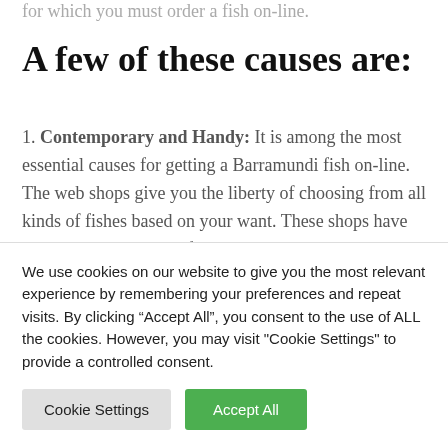for which you must order a fish on-line.
A few of these causes are:
1. Contemporary and Handy: It is among the most essential causes for getting a Barramundi fish on-line. The web shops give you the liberty of choosing from all kinds of fishes based on your want. These shops have direct contact with the fishermen. As quickly as they obtain your order they ahead the identical to them. Relying upon your wants these
We use cookies on our website to give you the most relevant experience by remembering your preferences and repeat visits. By clicking “Accept All”, you consent to the use of ALL the cookies. However, you may visit "Cookie Settings" to provide a controlled consent.